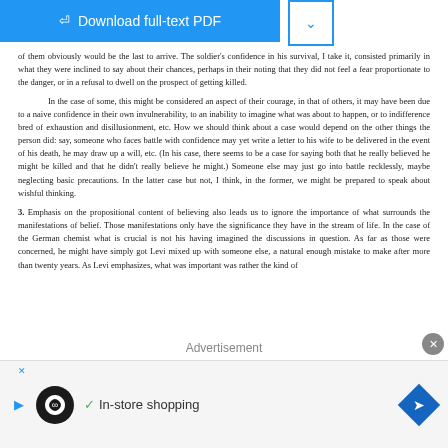[Figure (screenshot): Blue download full-text PDF button with document icon]
of them obviously would be the last to arrive. The soldier's confidence in his survival, I take it, consisted primarily in what they were inclined to say about their chances, perhaps in their noting that they did not feel a fear proportionate to the danger, or in a refusal to dwell on the prospect of getting killed.

In the case of some, this might be considered an aspect of their courage, in that of others, it may have been due to a naive confidence in their own invulnerability, to an inability to imagine what was about to happen, or to indifference bred of exhaustion and disillusionment, etc. How we should think about a case would depend on the other things the person did: say, someone who faces battle with confidence may yet write a letter to his wife to be delivered in the event of his death, he may draw up a will, etc. (In his case, there seems to be a case for saying both that he really believed he might be killed and that he didn't really believe he might.) Someone else may just go into battle recklessly, maybe neglecting basic precautions. In the latter case but not, I think, in the former, we might be prepared to speak about wishful thinking.

3. Emphasis on the propositional content of believing also leads us to ignore the importance of what surrounds the manifestations of belief. Those manifestations only have the significance they have in the stream of life. In the case of the German chemist what is crucial is not his having imagined the discussions in question. As far as those were concerned, he might have simply got Levi mixed up with someone else, a natural enough mistake to make after more than twenty years. As Levi emphasizes, what was important was rather the kind of
Advertisement
[Figure (screenshot): Advertisement banner: In-store shopping with logo and navigation icon]